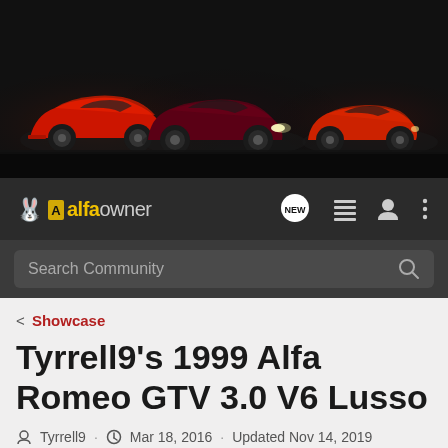[Figure (photo): Banner showing three Alfa Romeo cars on dark background: modern red 4C on left, dark red classic GT in center, red vintage spider on right]
[Figure (logo): Alfaowner logo with yellow alfa text and grey owner text, navigation icons including NEW chat bubble, hamburger menu, user icon, and more options dots]
Search Community
< Showcase
Tyrrell9's 1999 Alfa Romeo GTV 3.0 V6 Lusso
Tyrrell9 · Mar 18, 2016 · Updated Nov 14, 2019
+ Follow